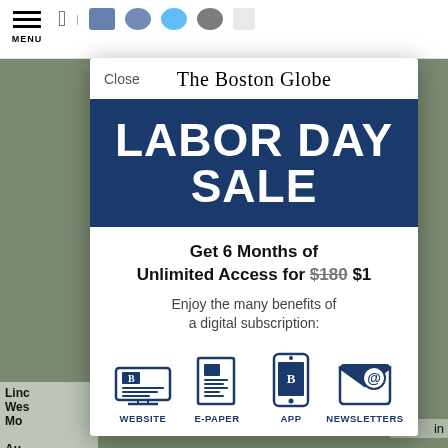[Figure (screenshot): The Boston Globe Labor Day Sale subscription modal on a mobile browser. Shows 'LABOR DAY SALE' in white on dark blue banner, offer text 'Get 6 Months of Unlimited Access for $180 $1', and four icons (Website, E-Paper, App, Newsletters).]
The Boston Globe
LABOR DAY SALE
Get 6 Months of Unlimited Access for $180 $1
Enjoy the many benefits of a digital subscription:
WEBSITE
E-PAPER
APP
NEWSLETTERS